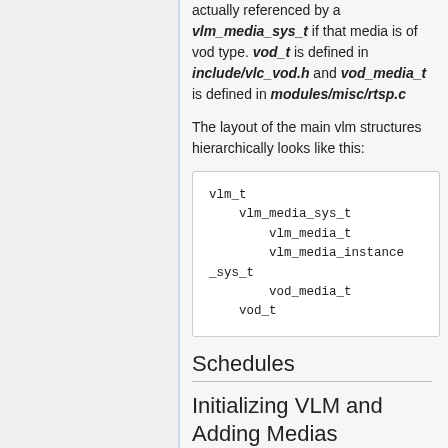actually referenced by a vlm_media_sys_t if that media is of vod type. vod_t is defined in include/vlc_vod.h and vod_media_t is defined in modules/misc/rtsp.c
The layout of the main vlm structures hierarchically looks like this:
[Figure (other): Code block showing hierarchical vlm structure: vlm_t > vlm_media_sys_t > vlm_media_t, vlm_media_instance_sys_t, vod_media_t; vod_t]
Schedules
Initializing VLM and Adding Medias